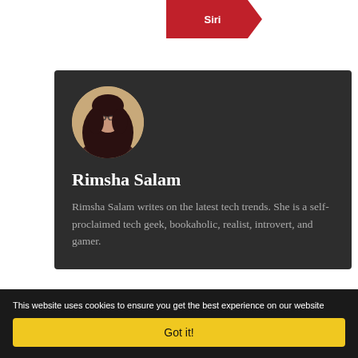Siri
[Figure (photo): Circular profile photo of Rimsha Salam, a woman wearing a dark hijab and glasses]
Rimsha Salam
Rimsha Salam writes on the latest tech trends. She is a self-proclaimed tech geek, bookaholic, realist, introvert, and gamer.
This website uses cookies to ensure you get the best experience on our website
Got it!